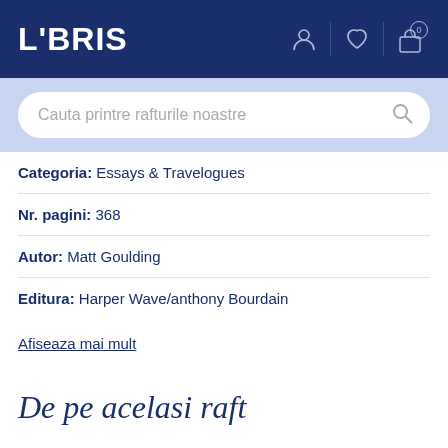LIBRIS
Categoria: Essays & Travelogues
Nr. pagini: 368
Autor: Matt Goulding
Editura: Harper Wave/anthony Bourdain
Afiseaza mai mult
De pe acelasi raft